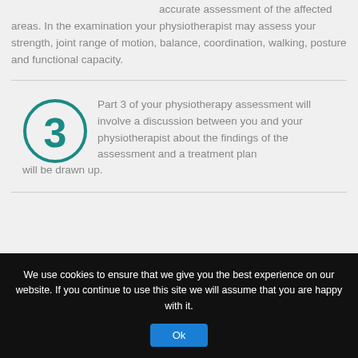some of your clothing to facilitate an accurate assessment of the affected areas. In the examination your physiotherapist may assess your strength, joint range of motion, balance, coordination, walking, posture and functional capacity.
Part 3 of your physiotherapy assessment will involve a discussion between you and your physiotherapist about the findings of the assessment and a treatment plan will be drawn up.
We use cookies to ensure that we give you the best experience on our website. If you continue to use this site we will assume that you are happy with it.